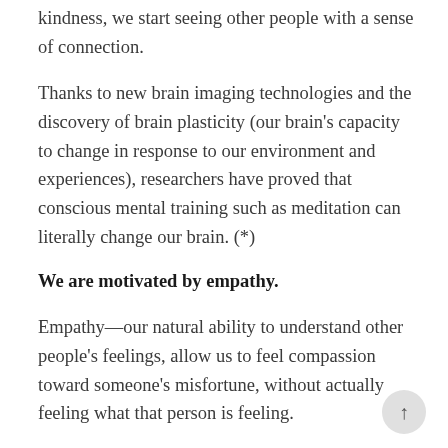kindness, we start seeing other people with a sense of connection.
Thanks to new brain imaging technologies and the discovery of brain plasticity (our brain's capacity to change in response to our environment and experiences), researchers have proved that conscious mental training such as meditation can literally change our brain. (*)
We are motivated by empathy.
Empathy—our natural ability to understand other people's feelings, allow us to feel compassion toward someone's misfortune, without actually feeling what that person is feeling.